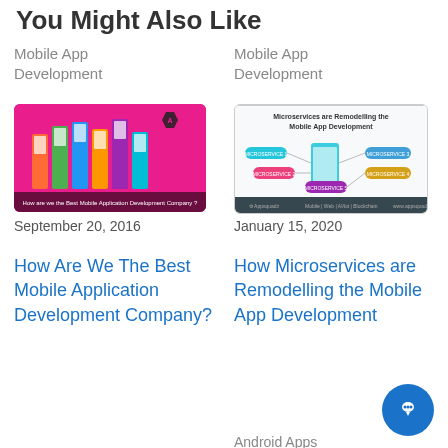You Might Also Like
Mobile App Development
[Figure (illustration): Pink background illustration of hands holding smartphones with app icons, text at bottom: How are we the Best Mobile Application Development Company?]
September 20, 2016
How Are We The Best Mobile Application Development Company?
Mobile App Development
[Figure (infographic): Infographic titled 'Microservices are Remodelling the Mobile App Development' showing a smartphone surrounded by labeled microservice nodes on a light background, with a dark footer bar.]
January 15, 2020
How Microservices are Remodelling the Mobile App Development
Android Apps